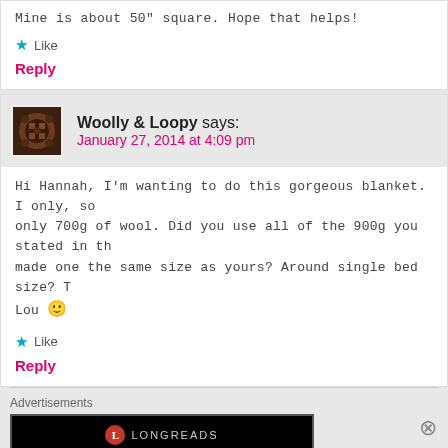Mine is about 50" square. Hope that helps!
Like
Reply
Woolly & Loopy says:
January 27, 2014 at 4:09 pm
Hi Hannah, I’m wanting to do this gorgeous blanket. I only, so only 700g of wool. Did you use all of the 900g you stated in th made one the same size as yours? Around single bed size? T Lou 🙂
Like
Reply
Advertisements
[Figure (screenshot): Longreads advertisement banner: black background with Longreads logo and tagline 'Read anything great lately?']